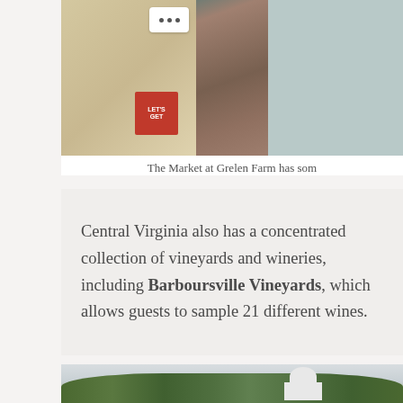[Figure (photo): Photo of what appears to be The Market at Grelen Farm showing wooden structures, crates, a teal/green door, and signs including one that says 'LET'S GET']
The Market at Grelen Farm has som
Central Virginia also has a concentrated collection of vineyards and wineries, including Barboursville Vineyards, which allows guests to sample 21 different wines.
[Figure (photo): Outdoor photo of a winery or farm building with dark roof, dome cupola structure, trees in foreground, overcast sky]